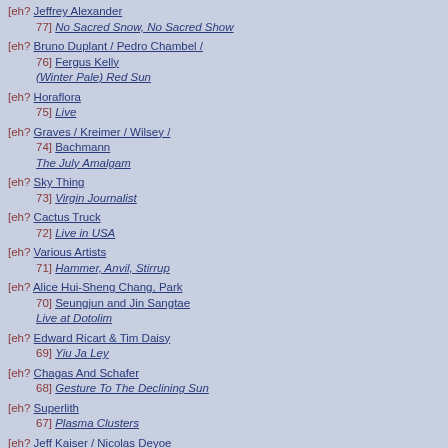[eh? 77] Jeffrey Alexander / No Sacred Snow, No Sacred Show
[eh? 76] Bruno Duplant / Pedro Chambel / Fergus Kelly / (Winter Pale) Red Sun
[eh? 75] Horaflora / Live
[eh? 74] Graves / Kreimer / Wilsey / Bachmann / The July Amalgam
[eh? 73] Sky Thing / Virgin Journalist
[eh? 72] Cactus Truck / Live in USA
[eh? 71] Various Artists / Hammer, Anvil, Stirrup
[eh? 70] Alice Hui-Sheng Chang, Park Seungjun and Jin Sangtae / Live at Dotolim
[eh? 69] Edward Ricart & Tim Daisy / Yiu Ja Ley
[eh? 68] Chagas And Schafer / Gesture To The Declining Sun
[eh? 67] Superlith / Plasma Clusters
[eh? 66] Jeff Kaiser / Nicolas Deyoe / Chimney Liquor
[eh? 65] Close Embrace of the Earth / At the Spirits Rejoice Festival
[eh? 64] Jean-Marc Montera & Francesco Calandrino / Idi Di Marzo
[eh? 63] Un Nu / Recoupements
[eh? 62] Bailly / Millevoi / Moffett